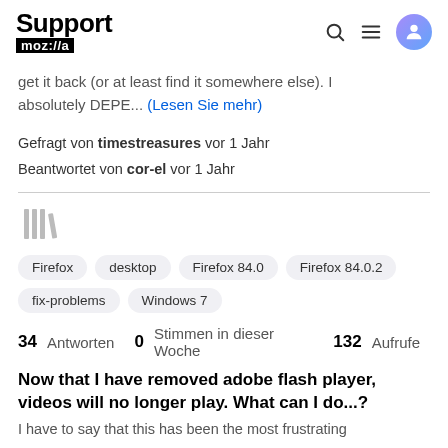Support mozilla
get it back (or at least find it somewhere else). I absolutely DEPE... (Lesen Sie mehr)
Gefragt von timestreasures vor 1 Jahr
Beantwortet von cor-el vor 1 Jahr
[Figure (illustration): Library/bookmark icon in gray]
Firefox
desktop
Firefox 84.0
Firefox 84.0.2
fix-problems
Windows 7
34 Antworten  0 Stimmen in dieser Woche  132 Aufrufe
Now that I have removed adobe flash player, videos will no longer play. What can I do...?
I have to say that this has been the most frustrating